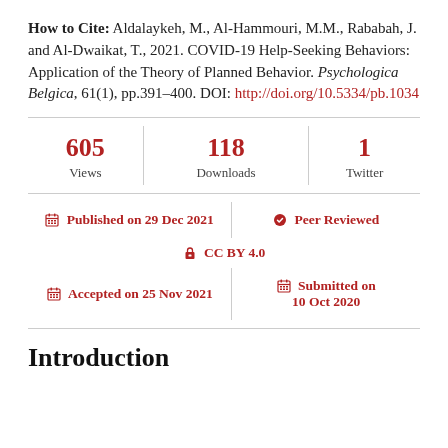How to Cite: Aldalaykeh, M., Al-Hammouri, M.M., Rababah, J. and Al-Dwaikat, T., 2021. COVID-19 Help-Seeking Behaviors: Application of the Theory of Planned Behavior. Psychologica Belgica, 61(1), pp.391–400. DOI: http://doi.org/10.5334/pb.1034
| Views | Downloads | Twitter |
| --- | --- | --- |
| 605 | 118 | 1 |
| Published on 29 Dec 2021 | Peer Reviewed |
| CC BY 4.0 |  |
| Accepted on 25 Nov 2021 | Submitted on 10 Oct 2020 |
Introduction